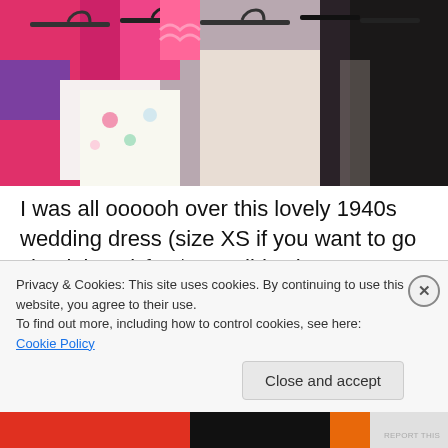[Figure (photo): Clothing rack in a shop with colorful garments: pink, purple, floral, and dark clothes hanging on hangers]
I was all oooooh over this lovely 1940s wedding dress (size XS if you want to go check it out) for $90. I didn't have as much time to stroke it as I would have liked because going to an op shop with children isn't exactly the
Privacy & Cookies: This site uses cookies. By continuing to use this website, you agree to their use.
To find out more, including how to control cookies, see here: Cookie Policy
Close and accept